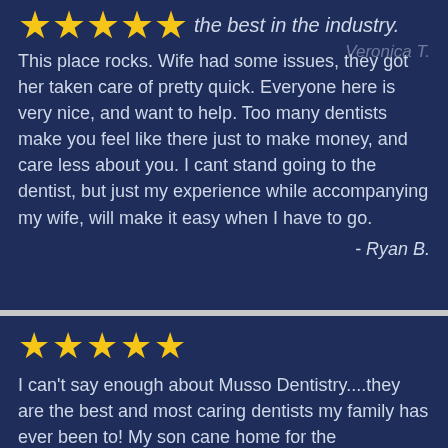★★★★★ ...the best in the industry.
This place rocks. Wife had some issues, they got her taken care of pretty quick. Everyone here is very nice, and want to help. Too many dentists make you feel like there just to make money, and care less about you. I cant stand going to the dentist, but just my experience while accompanying my wife, will make it easy when I have to go.
- Ryan B.
★★★★★
I can't say enough about Musso Dentistry....they are the best and most caring dentists my family has ever been to! My son cane home for the